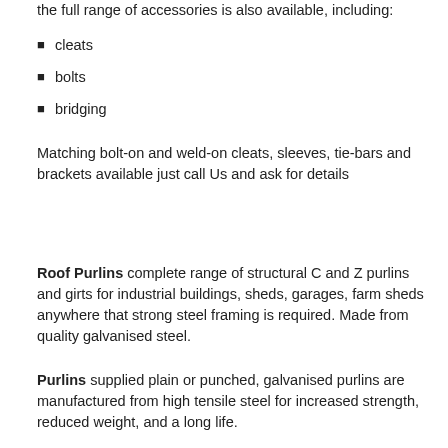the full range of accessories is also available, including:
cleats
bolts
bridging
Matching bolt-on and weld-on cleats, sleeves, tie-bars and brackets available just call Us and ask for details
Roof Purlins complete range of structural C and Z purlins and girts for industrial buildings, sheds, garages, farm sheds anywhere that strong steel framing is required. Made from quality galvanised steel.
Purlins supplied plain or punched, galvanised purlins are manufactured from high tensile steel for increased strength, reduced weight, and a long life.